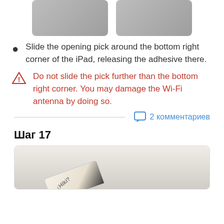[Figure (photo): Two photos of hands sliding an opening pick around the bottom right corner of an iPad]
Slide the opening pick around the bottom right corner of the iPad, releasing the adhesive there.
Do not slide the pick further than the bottom right corner. You may damage the Wi-Fi antenna by doing so.
2 комментариев
Шаг 17
[Figure (photo): A white eraser-like tool on a dark surface, step 17 of iPad repair guide]